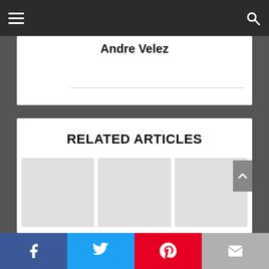Navigation bar with hamburger menu and search icon
Andre Velez
RELATED ARTICLES
McFarlane Toys Escanor Action Figure...
The ALL-NEW McFarlane...
The McFarlane Toys Azrael...
Social share buttons: Facebook, Twitter, Pinterest, Email